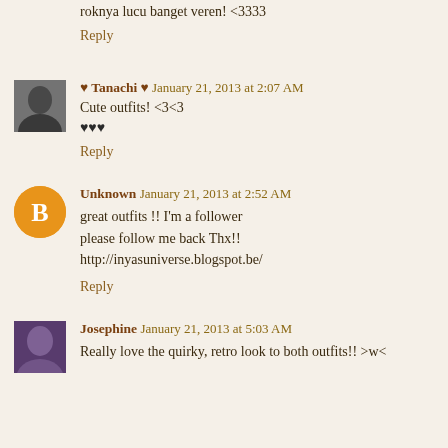roknya lucu banget veren! <3333
Reply
♥ Tanachi ♥  January 21, 2013 at 2:07 AM
Cute outfits! <3<3
♥♥♥
Reply
Unknown  January 21, 2013 at 2:52 AM
great outfits !! I'm a follower
please follow me back Thx!!
http://inyasuniverse.blogspot.be/
Reply
Josephine  January 21, 2013 at 5:03 AM
Really love the quirky, retro look to both outfits!! >w<